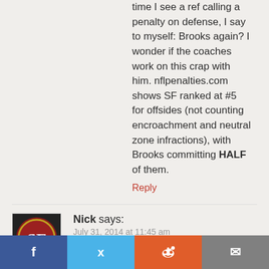time I see a ref calling a penalty on defense, I say to myself: Brooks again? I wonder if the coaches work on this crap with him. nflpenalties.com shows SF ranked at #5 for offsides (not counting encroachment and neutral zone infractions), with Brooks committing HALF of them.
Reply
Nick says: July 31, 2014 at 11:45 am
Brooks will be fine. He’s one of the better players on D.
Reply
StopCohn says: July 30, 2014 at 9:13 pm
#StopCohn
Nice hat, you goober.
f  t  reddit  email